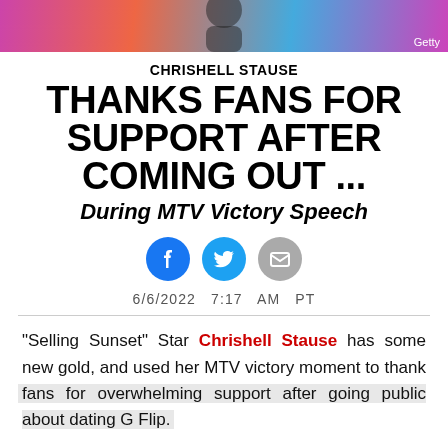[Figure (photo): Colorful background photo strip with person silhouette and Getty watermark]
CHRISHELL STAUSE THANKS FANS FOR SUPPORT AFTER COMING OUT ... During MTV Victory Speech
[Figure (infographic): Social share icons: Facebook (blue circle), Twitter (cyan circle), Email (gray circle)]
6/6/2022  7:17  AM  PT
"Selling Sunset" Star Chrishell Stause has some new gold, and used her MTV victory moment to thank fans for overwhelming support after going public about dating G Flip.